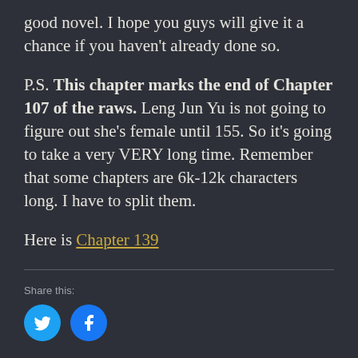good novel. I hope you guys will give it a chance if you haven't already done so.
P.S. This chapter marks the end of Chapter 107 of the raws. Leng Jun Yu is not going to figure out she's female until 155. So it's going to take a very VERY long time. Remember that some chapters are 6k-12k characters long. I have to split them.
Here is Chapter 139
Share this: